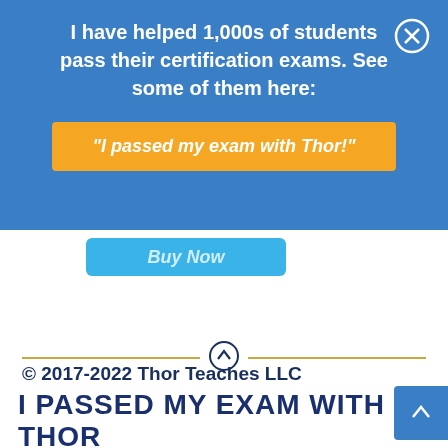I have helped 1,000s of students pass their certification exams. See some of them here:
"I passed my exam with Thor!"
Buy Now
© 2017-2022 Thor Teaches LLC
I PASSED MY EXAM WITH THOR!